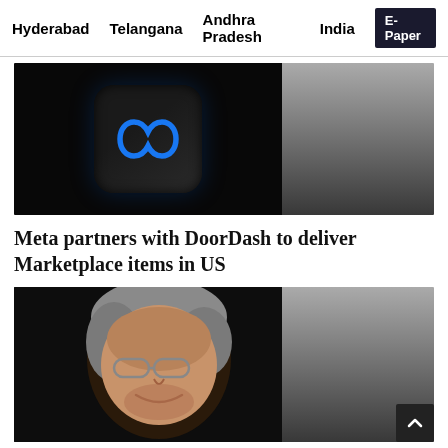Hyderabad   Telangana   Andhra Pradesh   India   E-Paper
[Figure (photo): Dark background image showing Meta logo (infinity loop symbol) in blue on a rounded black device surface, fading to grey gradient on the right]
Meta partners with DoorDash to deliver Marketplace items in US
[Figure (photo): Dark portrait photo of an elderly man with grey hair and glasses smiling, fading to grey gradient on the right. Salman Rushdie.]
Salman Rushdie off ventilator and talking